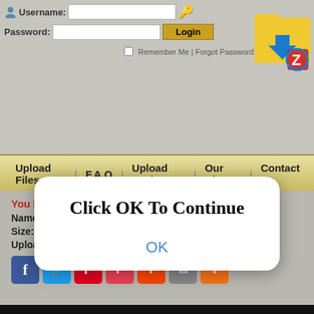[Figure (screenshot): Website header with login form showing Username and Password fields, Login button, Remember Me checkbox, and a folder/zip logo in the top right corner]
Upload Files | F.A.Q | Upload Tools | Our Blog | Contact Us
[Figure (screenshot): Modal dialog with text 'Click OK To Continue' and an OK button in blue]
You have requested the file:
Name: [Nodrakor]The Revenge 4.720p.mp4
Size: 378.49 MB
Uploaded: 24-12-2021 16:37
[Figure (screenshot): Social sharing buttons: Facebook, Twitter, Pinterest, Pocket, Reddit, Email, More (+)]